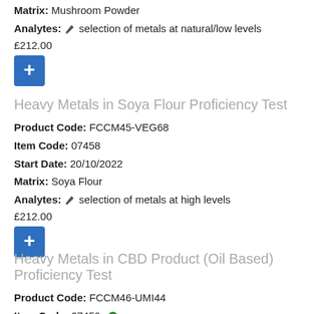Matrix: Mushroom Powder
Analytes: 🖊 selection of metals at natural/low levels
£212.00
[Figure (other): Blue add (+) button]
Heavy Metals in Soya Flour Proficiency Test
Product Code: FCCM45-VEG68
Item Code: 07458
Start Date: 20/10/2022
Matrix: Soya Flour
Analytes: 🖊 selection of metals at high levels
£212.00
[Figure (other): Blue add (+) button]
Heavy Metals in CBD Product (Oil Based) Proficiency Test
Product Code: FCCM46-UMI44
Item Code: 07459